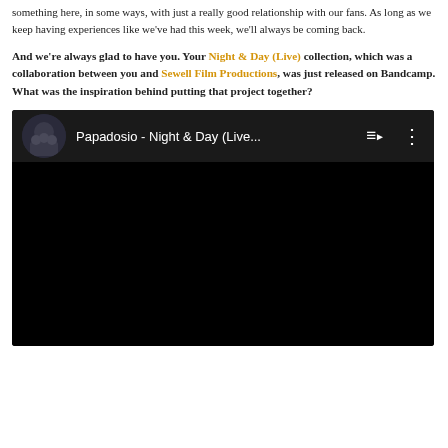something here, in some ways, with just a really good relationship with our fans. As long as we keep having experiences like we've had this week, we'll always be coming back.
And we're always glad to have you. Your Night & Day (Live) collection, which was a collaboration between you and Sewell Film Productions, was just released on Bandcamp. What was the inspiration behind putting that project together?
[Figure (screenshot): YouTube video player showing 'Papadosio - Night & Day (Live...' with dark background, circular avatar thumbnail on the left, video title text, playlist icon and menu icon on the right. The video area below is entirely black.]